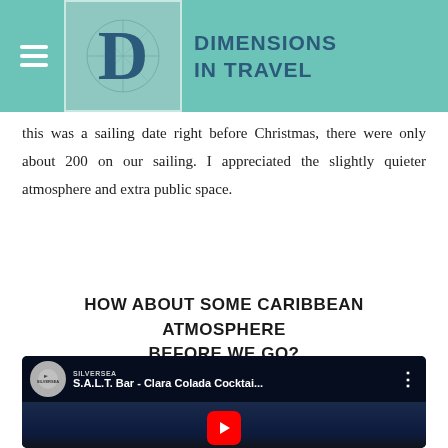Dimensions in Travel
this was a sailing date right before Christmas, there were only about 200 on our sailing. I appreciated the slightly quieter atmosphere and extra public space.
HOW ABOUT SOME CARIBBEAN ATMOSPHERE BEFORE WE GO?
[Figure (screenshot): YouTube video thumbnail for S.A.L.T. Bar - Clara Colada Cocktai... by Silversea, showing cocktail bottles in blue-lit bar setting with red YouTube play button]